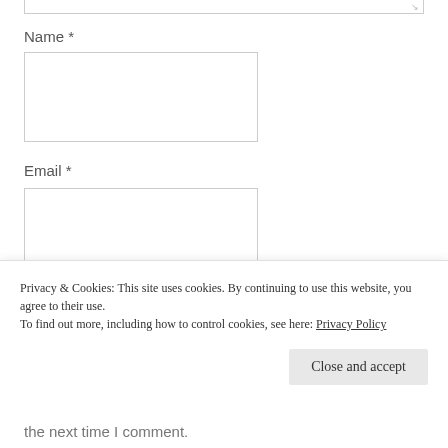Name *
[Figure (screenshot): Name input field (empty text box)]
Email *
[Figure (screenshot): Email input field (empty text box)]
Website
[Figure (screenshot): Website input field (empty text box)]
Privacy & Cookies: This site uses cookies. By continuing to use this website, you agree to their use.
To find out more, including how to control cookies, see here: Privacy Policy
Close and accept
the next time I comment.